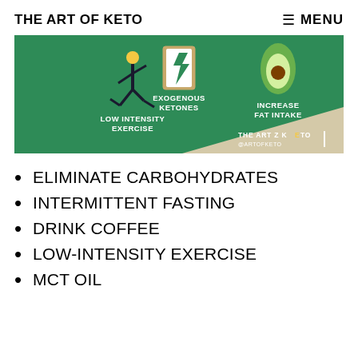THE ART OF KETO   ☰ MENU
[Figure (infographic): Green infographic banner showing three keto tips: a running figure labeled 'LOW INTENSITY EXERCISE', a lightning bolt icon labeled 'EXOGENOUS KETONES', and an avocado icon labeled 'INCREASE FAT INTAKE'. Bottom right shows 'THE ART Z KETO @ARTOFKETO'.]
ELIMINATE CARBOHYDRATES
INTERMITTENT FASTING
DRINK COFFEE
LOW-INTENSITY EXERCISE
MCT OIL